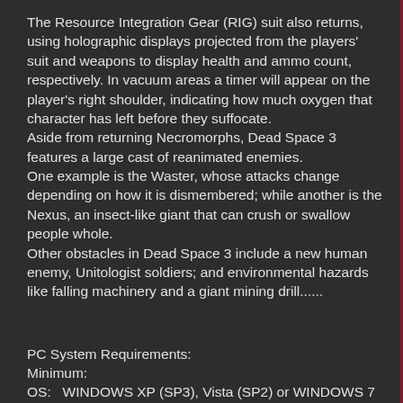The Resource Integration Gear (RIG) suit also returns, using holographic displays projected from the players' suit and weapons to display health and ammo count, respectively. In vacuum areas a timer will appear on the player's right shoulder, indicating how much oxygen that character has left before they suffocate. Aside from returning Necromorphs, Dead Space 3 features a large cast of reanimated enemies. One example is the Waster, whose attacks change depending on how it is dismembered; while another is the Nexus, an insect-like giant that can crush or swallow people whole. Other obstacles in Dead Space 3 include a new human enemy, Unitologist soldiers; and environmental hazards like falling machinery and a giant mining drill......
PC System Requirements:
Minimum:
OS:   WINDOWS XP (SP3), Vista (SP2) or WINDOWS 7 (SP1)
CPU: 2.8 GHz processor or equivalent
RAM: 1 GB RAM (XP), 2 GB RAM (Vista or Windows 7)
VGA: - NVIDIA GeForce 6800 or better - ATI X1600 Pro or better
HDD: 12GB